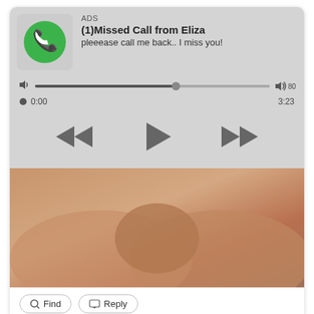ADS
(1)Missed Call from Eliza
pleeease call me back.. I miss you!
0:00
3:23
[Figure (screenshot): Audio player controls with rewind, play, and fast-forward buttons]
[Figure (photo): Advertisement image]
Find
Reply